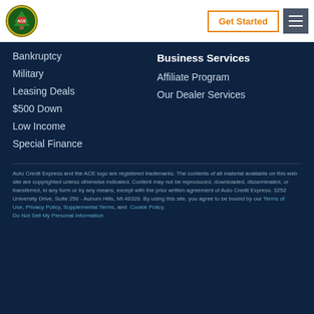[Figure (logo): Auto Credit Express ACE circular logo with tree and shield]
Get Started
Bankruptcy
Military
Leasing Deals
$500 Down
Low Income
Special Finance
Business Services
Affiliate Program
Our Dealer Services
Auto Credit Express and the ACE logo are registered trademarks. The contents of all material available on this web site are copyrighted unless otherwise indicated. Content may not be reproduced, downloaded, disseminated, or transferred, in any form or by any means, except with the prior written agreement of Auto Credit Express. 3252 University Drive, Suite 250 - Auburn Hills, MI 48326. By using this site, you agree to be bound by our Terms of Use, Privacy Policy, Supplemental Terms, and Cookie Policy. Do Not Sell My Personal Information